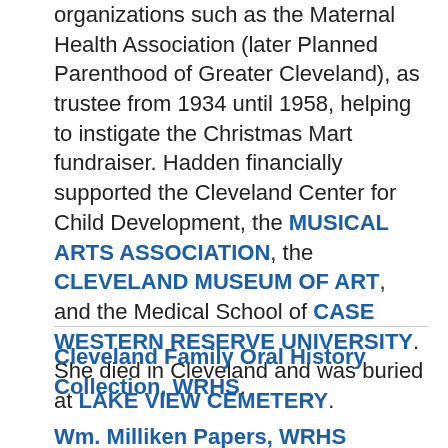organizations such as the Maternal Health Association (later Planned Parenthood of Greater Cleveland), as trustee from 1934 until 1958, helping to instigate the Christmas Mart fundraiser. Hadden financially supported the Cleveland Center for Child Development, the MUSICAL ARTS ASSOCIATION, the CLEVELAND MUSEUM OF ART, and the Medical School of CASE WESTERN RESERVE UNIVERSITY. She died in Cleveland and was buried at LAKE VIEW CEMETERY.
Cleveland Family Oral History Collection, WRHS.
Wm. Milliken Papers, WRHS